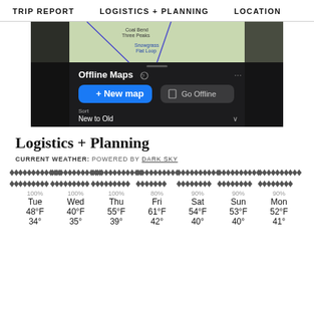TRIP REPORT   LOGISTICS + PLANNING   LOCATION
[Figure (screenshot): App screenshot showing Offline Maps UI with map view, 'New map' and 'Go Offline' buttons, and Sort: New to Old dropdown]
Logistics + Planning
CURRENT WEATHER: Powered by Dark Sky
| Tue | Wed | Thu | Fri | Sat | Sun | Mon |
| --- | --- | --- | --- | --- | --- | --- |
| 100% | 100% | 100% | 80% | 90% | 90% | 90% |
| Tue | Wed | Thu | Fri | Sat | Sun | Mon |
| 48°F | 40°F | 55°F | 61°F | 54°F | 53°F | 52°F |
| 34° | 35° | 39° | 42° | 40° | 40° | 41° |